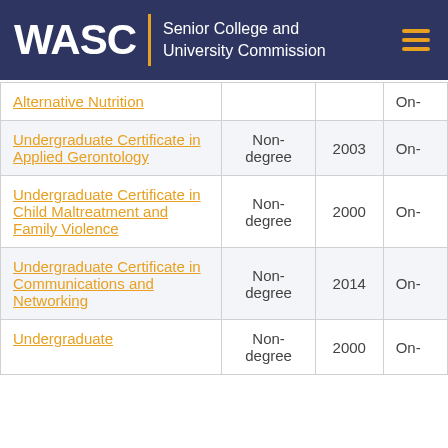WASC Senior College and University Commission
| Program | Type | Year | Mode |
| --- | --- | --- | --- |
| Alternative Nutrition |  |  | On- |
| Undergraduate Certificate in Applied Gerontology | Non-degree | 2003 | On- |
| Undergraduate Certificate in Child Maltreatment and Family Violence | Non-degree | 2000 | On- |
| Undergraduate Certificate in Communications and Networking | Non-degree | 2014 | On- |
| Undergraduate | Non-degree | 2000 | On- |